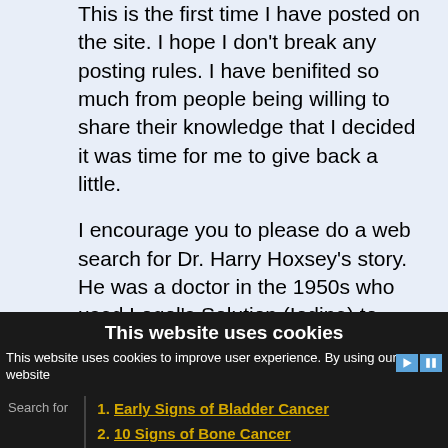This is the first time I have posted on the site. I hope I don't break any posting rules. I have benifited so much from people being willing to share their knowledge that I decided it was time for me to give back a little.
I encourage you to please do a web search for Dr. Harry Hoxsey's story. He was a doctor in the 1950s who used Logol's Solution (Iodine) to cure cancer.
My spouse and I started to paint a 2"
This website uses cookies
This website uses cookies to improve user experience. By using our website
Early Signs of Bladder Cancer
10 Signs of Bone Cancer
Search for